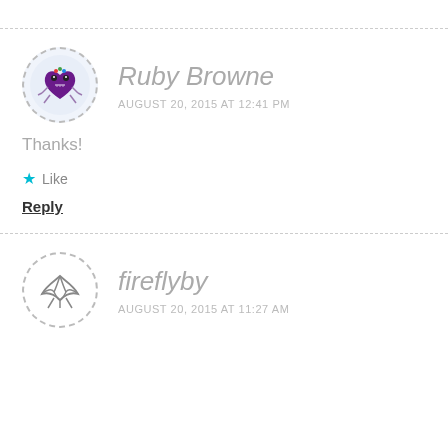[Figure (illustration): Avatar for Ruby Browne: circular dashed border with illustrated purple heart creature with colorful elements on light blue background]
Ruby Browne
AUGUST 20, 2015 AT 12:41 PM
Thanks!
★ Like
Reply
[Figure (illustration): Avatar for fireflyby: circular dashed border with illustrated bird/firefly logo on white background]
fireflyby
AUGUST 20, 2015 AT 11:27 AM